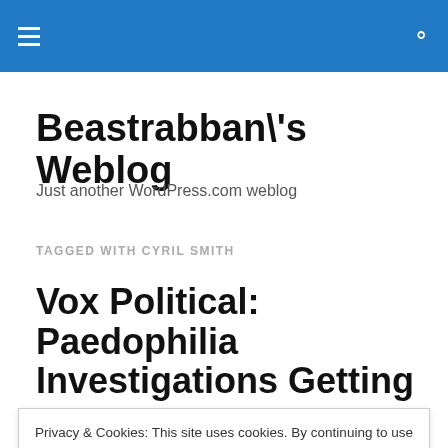Beastrabban\'s Weblog — site header bar with hamburger menu and search icon
Beastrabban\'s Weblog
Just another WordPress.com weblog
TAGGED WITH CYRIL SMITH
Vox Political: Paedophilia Investigations Getting too
Privacy & Cookies: This site uses cookies. By continuing to use this website, you agree to their use.
To find out more, including how to control cookies, see here: Cookie Policy
Close and accept
the release of documents relating to the investigation of